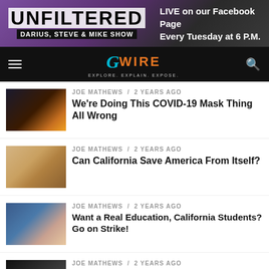[Figure (screenshot): Banner for 'Unfiltered Darius, Steve & Mike Show' with text 'LIVE on our Facebook Page Every Tuesday at 6 P.M.' on purple/dark background]
[Figure (logo): GVWire navigation bar with hamburger menu, teal/orange logo, and search icon on black background]
JOE MATHEWS / 2 years ago
We're Doing This COVID-19 Mask Thing All Wrong
JOE MATHEWS / 2 years ago
Can California Save America From Itself?
JOE MATHEWS / 2 years ago
Want a Real Education, California Students? Go on Strike!
JOE MATHEWS / 2 years ago
The 21st Century California Plague That